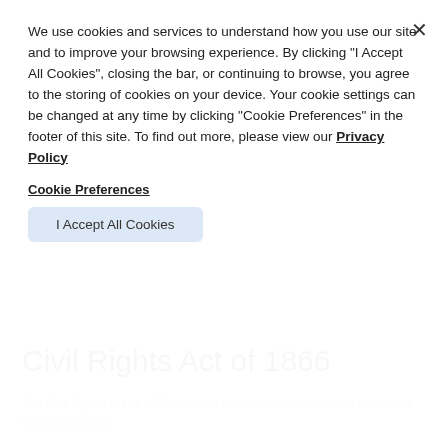We use cookies and services to understand how you use our site and to improve your browsing experience. By clicking "I Accept All Cookies", closing the bar, or continuing to browse, you agree to the storing of cookies on your device. Your cookie settings can be changed at any time by clicking "Cookie Preferences" in the footer of this site. To find out more, please view our Privacy Policy
Cookie Preferences
I Accept All Cookies
Civil Rights Act of 1866
The Civil Rights Act of 1866 prohibits all racial discrimination in the sale or rental of property.